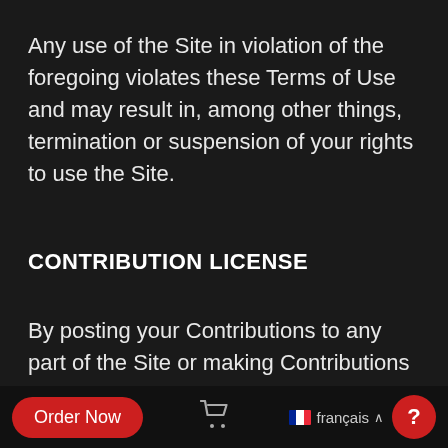Any use of the Site in violation of the foregoing violates these Terms of Use and may result in, among other things, termination or suspension of your rights to use the Site.
CONTRIBUTION LICENSE
By posting your Contributions to any part of the Site or making Contributions accessible to the